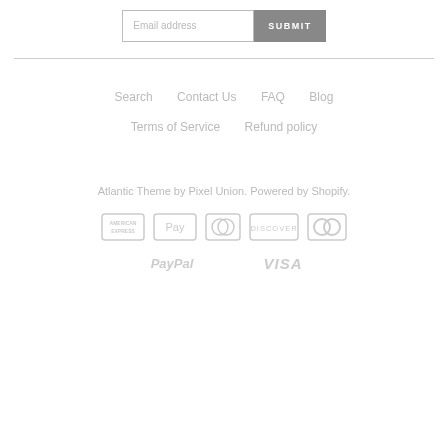[Figure (screenshot): Email address input field with placeholder text 'Email address' and a dark gray SUBMIT button]
Search   Contact Us   FAQ   Blog
Terms of Service   Refund policy
Atlantic Theme by Pixel Union. Powered by Shopify.
[Figure (infographic): Payment method icons: American Express, Apple Pay, Diners Club, Discover, Mastercard, PayPal, Visa — all in light gray]